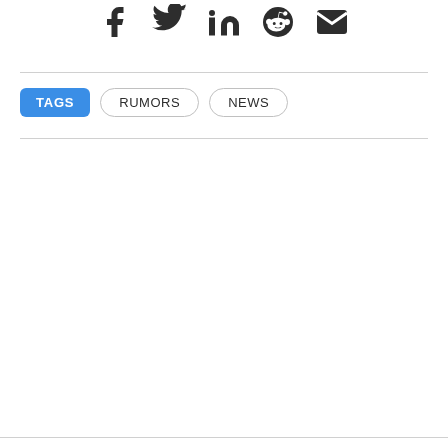[Figure (other): Social media sharing icons: Facebook, Twitter, LinkedIn, Reddit, Email]
TAGS  RUMORS  NEWS